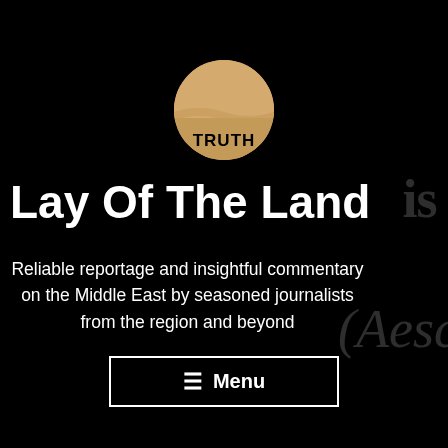[Figure (logo): Circular logo with sandy/tan upper half and darker lower half, with the word TRUTH in bold black text on the lower portion]
Lay Of The Land
Reliable reportage and insightful commentary on the Middle East by seasoned journalists from the region and beyond
[Figure (other): Menu button with hamburger icon and text 'Menu']